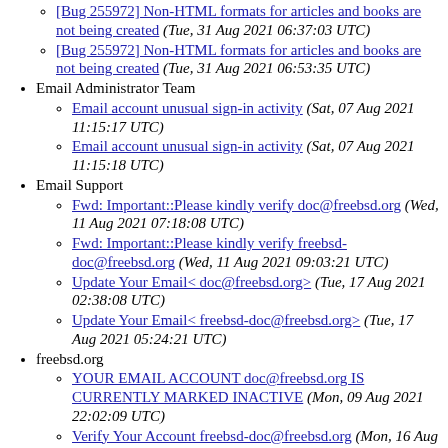[Bug 255972] Non-HTML formats for articles and books are not being created (Tue, 31 Aug 2021 06:37:03 UTC)
[Bug 255972] Non-HTML formats for articles and books are not being created (Tue, 31 Aug 2021 06:53:35 UTC)
Email Administrator Team
Email account unusual sign-in activity (Sat, 07 Aug 2021 11:15:17 UTC)
Email account unusual sign-in activity (Sat, 07 Aug 2021 11:15:18 UTC)
Email Support
Fwd: Important::Please kindly verify doc@freebsd.org (Wed, 11 Aug 2021 07:18:08 UTC)
Fwd: Important::Please kindly verify freebsd-doc@freebsd.org (Wed, 11 Aug 2021 09:03:21 UTC)
Update Your Email< doc@freebsd.org> (Tue, 17 Aug 2021 02:38:08 UTC)
Update Your Email< freebsd-doc@freebsd.org> (Tue, 17 Aug 2021 05:24:21 UTC)
freebsd.org
YOUR EMAIL ACCOUNT doc@freebsd.org IS CURRENTLY MARKED INACTIVE (Mon, 09 Aug 2021 22:02:09 UTC)
Verify Your Account freebsd-doc@freebsd.org (Mon, 16 Aug 2021 04:48:52 UTC)